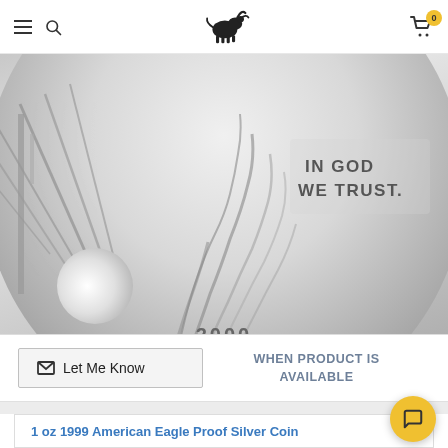Navigation header with hamburger menu, search icon, bull logo, and cart (0)
[Figure (photo): Close-up photograph of a silver coin showing Lady Liberty walking, with text 'IN GOD WE TRUST' and year '2000' at the bottom]
Let Me Know — WHEN PRODUCT IS AVAILABLE
1 oz 1999 American Eagle Proof Silver Coin